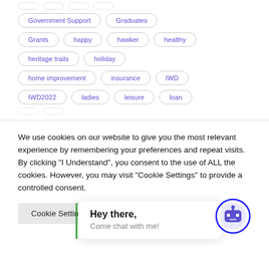Government Support
Graduates
Grants
happy
hawker
healthy
heritage trails
holiday
home improvement
insurance
IWD
IWD2022
ladies
leisure
loan
We use cookies on our website to give you the most relevant experience by remembering your preferences and repeat visits. By clicking “I Understand”, you consent to the use of ALL the cookies. However, you may visit “Cookie Settings” to provide a controlled consent.
Cookie Settings
Hey there,
Come chat with me!